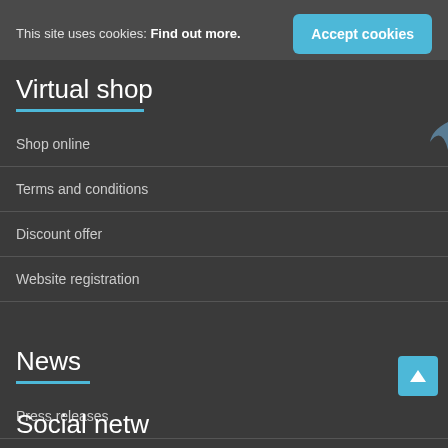This site uses cookies: Find out more.
Accept cookies
Virtual shop
Shop online
Terms and conditions
Discount offer
Website registration
News
Press releases
Patti Rundall's policy blog
Social networks